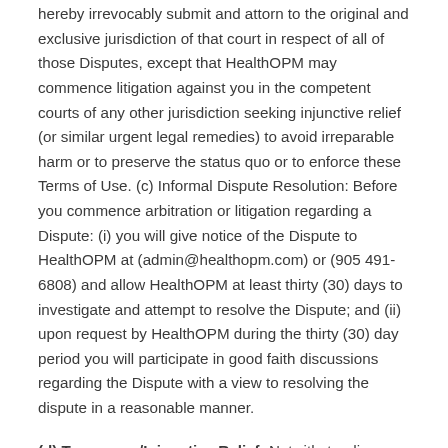hereby irrevocably submit and attorn to the original and exclusive jurisdiction of that court in respect of all of those Disputes, except that HealthOPM may commence litigation against you in the competent courts of any other jurisdiction seeking injunctive relief (or similar urgent legal remedies) to avoid irreparable harm or to preserve the status quo or to enforce these Terms of Use. (c) Informal Dispute Resolution: Before you commence arbitration or litigation regarding a Dispute: (i) you will give notice of the Dispute to HealthOPM at (admin@healthopm.com) or (905 491-6808) and allow HealthOPM at least thirty (30) days to investigate and attempt to resolve the Dispute; and (ii) upon request by HealthOPM during the thirty (30) day period you will participate in good faith discussions regarding the Dispute with a view to resolving the dispute in a reasonable manner.
(d) Temporary/Injunctive Relief: Notwithstanding